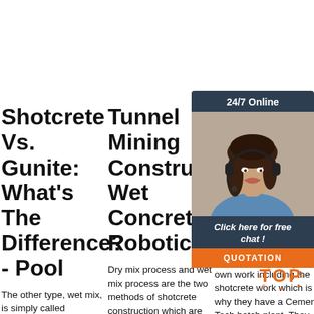Shotcrete Vs. Gunite: What's The Difference? - Pool
The other type, wet mix, is simply called shotcrete. Let's dive right into the gunite vs. shotcrete comparison. BASIC DIFFERENCE. Gunite A gunite pool is a pool shell formed by
Tunnel Mining Construction Wet Concrete Robotic
Dry mix process and wet mix process are the two methods of shotcrete construction which are based on the time at which the water is added to the
G... Sh... Ce... Te...
Sou... base... Mas... perf... own work including the shotcrete work which is why they have a Cemen Tech batch plant. They average 50-70 yards through...
[Figure (photo): Chat widget with woman wearing headset, 24/7 Online header, Click here for free chat text, and QUOTATION button]